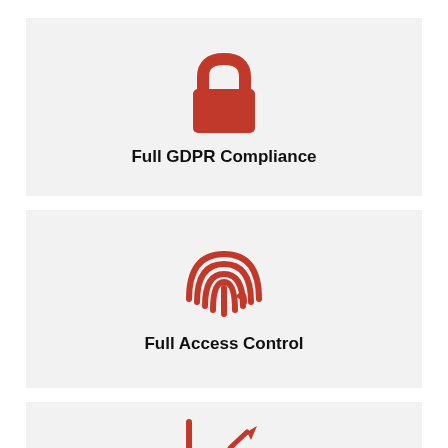[Figure (illustration): Red padlock icon representing GDPR compliance]
Full GDPR Compliance
[Figure (illustration): Red fingerprint icon representing access control]
Full Access Control
[Figure (illustration): Red line chart with upward arrow icon representing analytics or tracking]